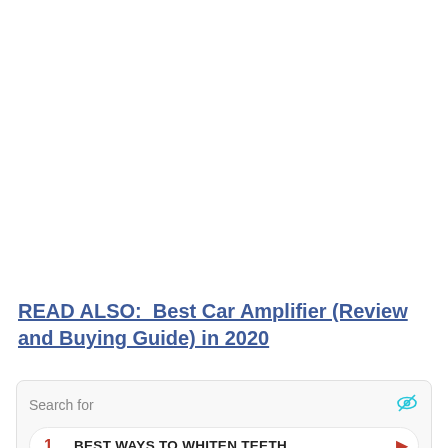READ ALSO:  Best Car Amplifier (Review and Buying Guide) in 2020
[Figure (other): Advertisement widget with search bar, two sponsored results (1. BEST WAYS TO WHITEN TEETH, 2. BEST RATED MATTRESSES), eye icon, and Business Focus footer with play icon]